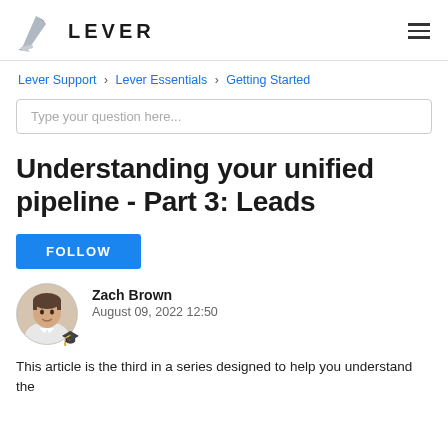LEVER
Lever Support › Lever Essentials › Getting Started
Type your question here...
Understanding your unified pipeline - Part 3: Leads
FOLLOW
Zach Brown
August 09, 2022 12:50
This article is the third in a series designed to help you understand the